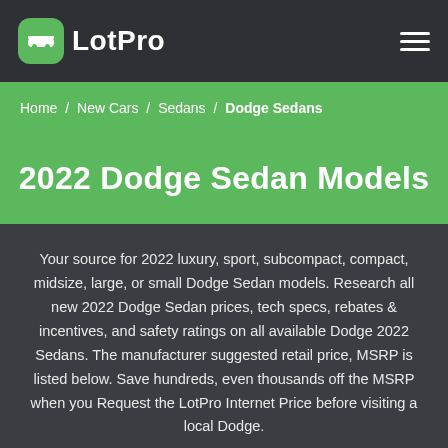LotPro
Home / New Cars / Sedans / Dodge Sedans
2022 Dodge Sedan Models
Your source for 2022 luxury, sport, subcompact, compact, midsize, large, or small Dodge Sedan models. Research all new 2022 Dodge Sedan prices, tech specs, rebates & incentives, and safety ratings on all available Dodge 2022 Sedans. The manufacturer suggested retail price, MSRP is listed below. Save hundreds, even thousands off the MSRP when you Request the LotPro Internet Price before visiting a local Dodge.